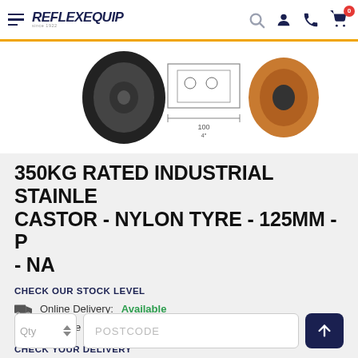REFLEX EQUIP (navigation header with logo, search, account, phone, cart icons)
[Figure (photo): Product image area showing a castor wheel (black rubber tyre visible on left), a technical line drawing with dimension marking of 100/4" in the center, and another castor wheel on the right. White background.]
350KG RATED INDUSTRIAL STAINLESS CASTOR - NYLON TYRE - 125MM - P - NA
CHECK OUR STOCK LEVEL
Online Delivery: Available
In - store Pickup: Check Level
CHECK YOUR DELIVERY
Qty input, POSTCODE input, and submit button